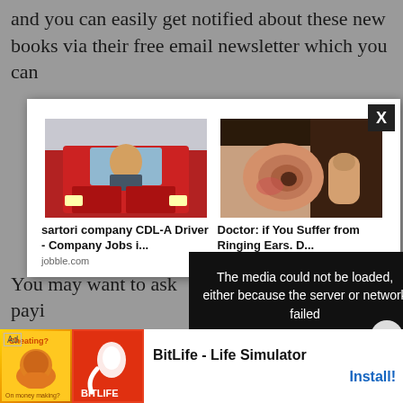and you can easily get notified about these new books via their free email newsletter which you can
[Figure (screenshot): Web advertisement popup modal showing two ad items: 1) sartori company CDL-A Driver - Company Jobs i... from jobble.com (image of woman in truck), 2) Doctor: if You Suffer from Ringing Ears. D... from HealthyLifeYes (image of ear). A close X button is in the top-right corner.]
[Figure (screenshot): Black overlay error message: 'The media could not be loaded, either because the server or network failed or because the format is not supported.' with an X icon in the center.]
You may want to ask
payi
[Figure (screenshot): Bottom banner ad for BitLife - Life Simulator app with Install button. Shows Ad label, app icon with muscular arm graphic on yellow/orange background and BitLife logo on red background.]